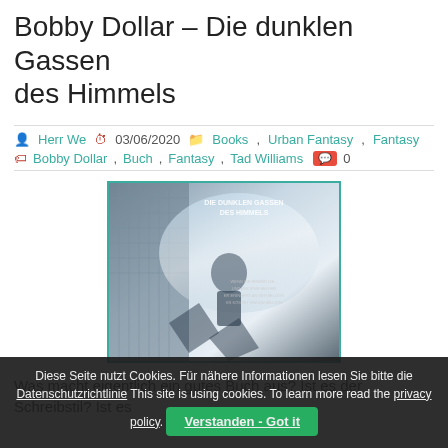Bobby Dollar – Die dunklen Gassen des Himmels
Herr We  03/06/2020  Books, Urban Fantasy, Fantasy
Bobby Dollar, Buch, Fantasy, Tad Williams  0
[Figure (photo): Book cover of Bobby Dollar – Die dunklen Gassen des Himmels showing a figure against a bright background with dark urban structures]
Was macht eigentlich ein gutes Buch aus? Ist es der Schreibstil? Ist es
Diese Seite nutzt Cookies. Für nähere Informationen lesen Sie bitte die Datenschutzrichtlinie This site is using cookies. To learn more read the privacy policy.  Verstanden - Got it